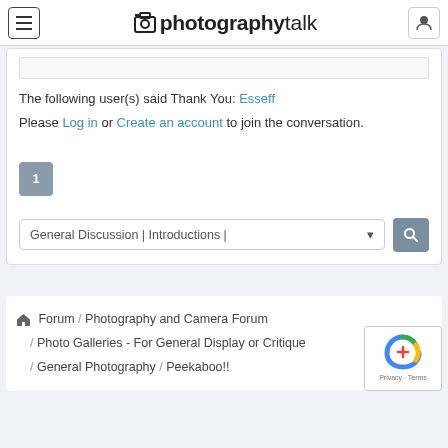PhotographyTalk
The following user(s) said Thank You: Esseff
Please Log in or Create an account to join the conversation.
1
General Discussion | Introductions |
Forum / Photography and Camera Forum / Photo Galleries - For General Display or Critique / General Photography / Peekaboo!!